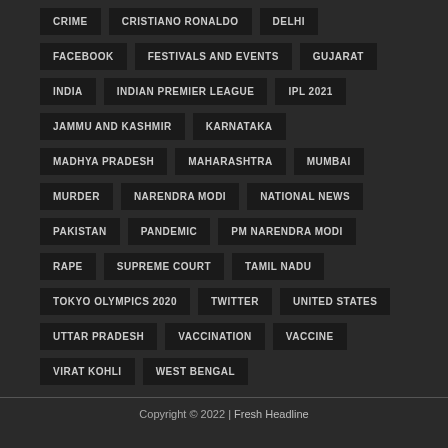CRIME
CRISTIANO RONALDO
DELHI
FACEBOOK
FESTIVALS AND EVENTS
GUJARAT
INDIA
INDIAN PREMIER LEAGUE
IPL 2021
JAMMU AND KASHMIR
KARNATAKA
MADHYA PRADESH
MAHARASHTRA
MUMBAI
MURDER
NARENDRA MODI
NATIONAL NEWS
PAKISTAN
PANDEMIC
PM NARENDRA MODI
RAPE
SUPREME COURT
TAMIL NADU
TOKYO OLYMPICS 2020
TWITTER
UNITED STATES
UTTAR PRADESH
VACCINATION
VACCINE
VIRAT KOHLI
WEST BENGAL
Copyright © 2022 | Fresh Headline